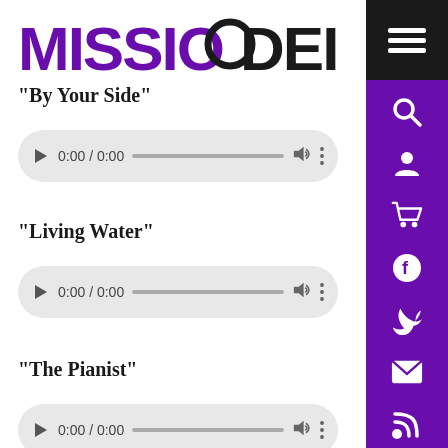[Figure (logo): Missio Dei logo with purple MISSIO text and black DEI text with circular O graphic]
“By Your Side”
[Figure (screenshot): Audio player showing 0:00 / 0:00]
“Living Water”
[Figure (screenshot): Audio player showing 0:00 / 0:00]
“The Pianist”
[Figure (screenshot): Audio player showing 0:00 / 0:00 (partially visible)]
[Figure (infographic): Purple sidebar with hamburger menu button and social/nav icons: search, user, cart, facebook, twitter, email, rss]